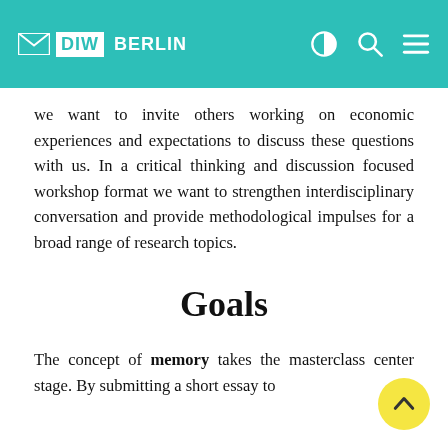DIW BERLIN
we want to invite others working on economic experiences and expectations to discuss these questions with us. In a critical thinking and discussion focused workshop format we want to strengthen interdisciplinary conversation and provide methodological impulses for a broad range of research topics.
Goals
The concept of memory takes the masterclass center stage. By submitting a short essay to